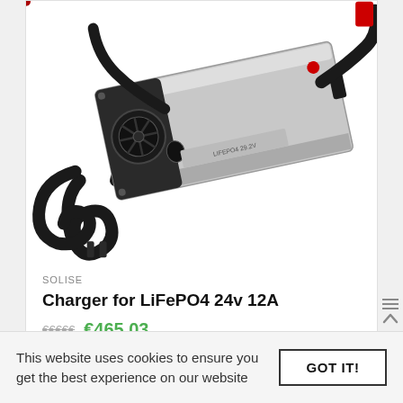[Figure (photo): Photo of a LiFePO4 battery charger (silver/black rectangular device) with power cable and black output connectors, shown at an angle on a white background.]
SOLISE
Charger for LiFePO4 24v 12A
€465.03
This website uses cookies to ensure you get the best experience on our website